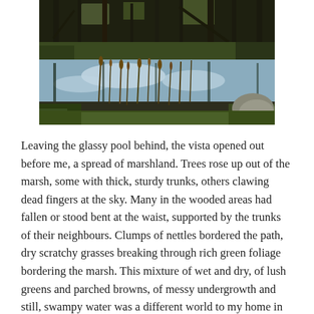[Figure (photo): A glassy woodland pool with reflections of bare trees and sky in the water. Reeds and marsh grasses grow along the water's edge. The scene shows a wetland/marsh environment with bare deciduous trees rising from the water, their reflections visible in the still surface.]
Leaving the glassy pool behind, the vista opened out before me, a spread of marshland. Trees rose up out of the marsh, some with thick, sturdy trunks, others clawing dead fingers at the sky. Many in the wooded areas had fallen or stood bent at the waist, supported by the trunks of their neighbours. Clumps of nettles bordered the path, dry scratchy grasses breaking through rich green foliage bordering the marsh. This mixture of wet and dry, of lush greens and parched browns, of messy undergrowth and still, swampy water was a different world to my home in